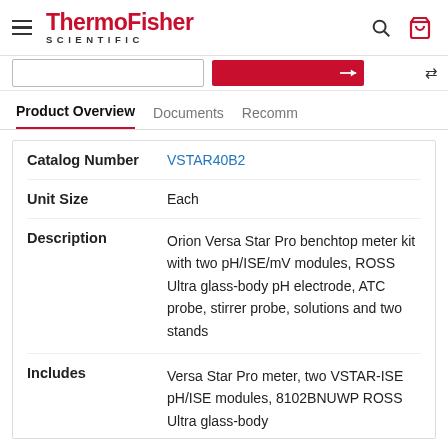ThermoFisher SCIENTIFIC
| Field | Value |
| --- | --- |
| Catalog Number | VSTAR40B2 |
| Unit Size | Each |
| Description | Orion Versa Star Pro benchtop meter kit with two pH/ISE/mV modules, ROSS Ultra glass-body pH electrode, ATC probe, stirrer probe, solutions and two stands |
| Includes | Versa Star Pro meter, two VSTAR-ISE pH/ISE modules, 8102BNUWP ROSS Ultra glass-body |